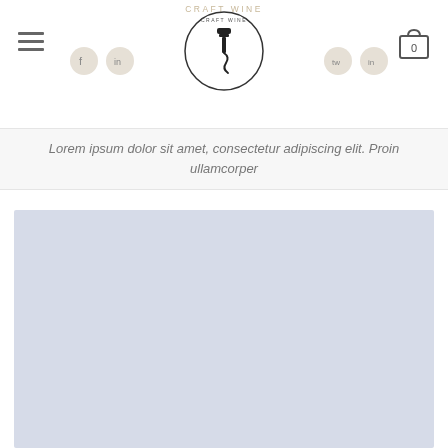Craft Wine — navigation header with logo, menu icon, social icons, and cart
Lorem ipsum dolor sit amet, consectetur adipiscing elit. Proin ullamcorper
[Figure (photo): Large light blue-grey placeholder image block]